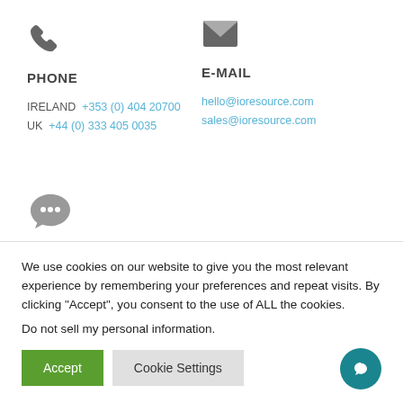[Figure (illustration): Phone handset icon (gray)]
[Figure (illustration): Envelope/mail icon (gray)]
PHONE
E-MAIL
IRELAND +353 (0) 404 20700
UK +44 (0) 333 405 0035
hello@ioresource.com
sales@ioresource.com
[Figure (illustration): Chat/message bubble icon with ellipsis (gray)]
We use cookies on our website to give you the most relevant experience by remembering your preferences and repeat visits. By clicking “Accept”, you consent to the use of ALL the cookies.
Do not sell my personal information.
Accept
Cookie Settings